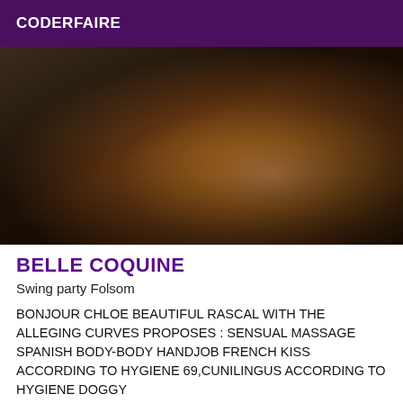CODERFAIRE
[Figure (photo): Dark photograph showing a person's body in low light, warm tones with dark background]
BELLE COQUINE
Swing party Folsom
BONJOUR CHLOE BEAUTIFUL RASCAL WITH THE ALLEGING CURVES PROPOSES : SENSUAL MASSAGE SPANISH BODY-BODY HANDJOB FRENCH KISS ACCORDING TO HYGIENE 69,CUNILINGUS ACCORDING TO HYGIENE DOGGY